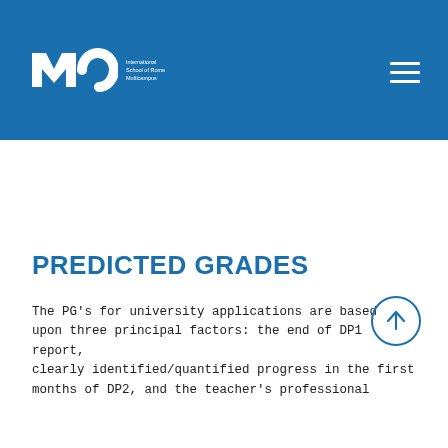[Figure (logo): MC (Marymount / International School logo) with text 'International School of Rome Multicampus' on blue header bar]
PREDICTED GRADES
The PG's for university applications are based upon three principal factors: the end of DP1 report, clearly identified/quantified progress in the first months of DP2, and the teacher's professional